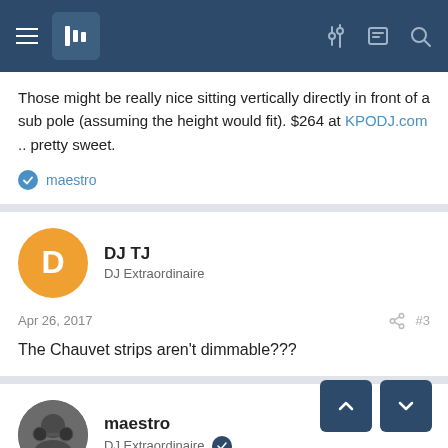Forum navigation header
Those might be really nice sitting vertically directly in front of a sub pole (assuming the height would fit). $264 at KPODJ.com .. pretty sweet.
maestro
DJ TJ
DJ Extraordinaire
Apr 26, 2017  #3
The Chauvet strips aren't dimmable???
maestro
DJ Extraordinaire
Apr 26, 2017